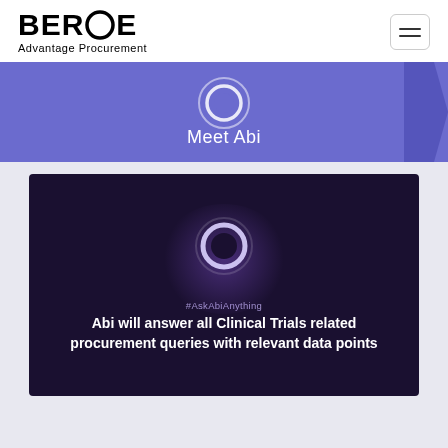BEROE Advantage Procurement
[Figure (infographic): Purple banner with Abi logo circle and 'Meet Abi' text, with arrow pointing right]
[Figure (infographic): Dark purple video thumbnail with glowing ring/circle orb, #AskAbiAnything label, and text: Abi will answer all Clinical Trials related procurement queries with relevant data points]